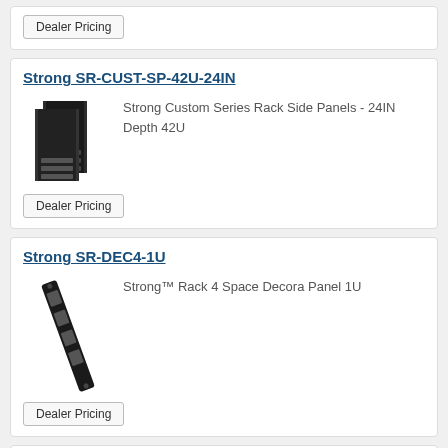Dealer Pricing
Strong SR-CUST-SP-42U-24IN
[Figure (photo): Two black rack side panels stacked, 42U depth 24IN]
Strong Custom Series Rack Side Panels - 24IN Depth 42U
Dealer Pricing
Strong SR-DEC4-1U
[Figure (photo): Black decora panel strip, long and narrow, 1U rack panel]
Strong™ Rack 4 Space Decora Panel 1U
Dealer Pricing
Strong SR-DRAWER-2U